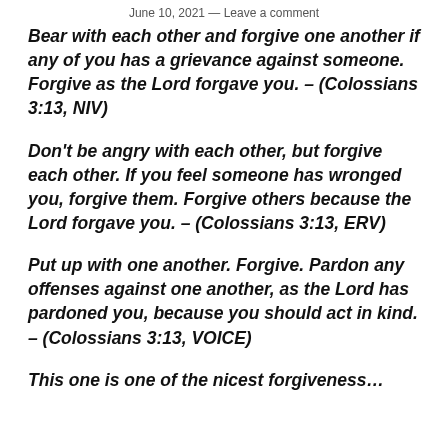June 10, 2021 — Leave a comment
Bear with each other and forgive one another if any of you has a grievance against someone. Forgive as the Lord forgave you. – (Colossians 3:13, NIV)
Don't be angry with each other, but forgive each other. If you feel someone has wronged you, forgive them. Forgive others because the Lord forgave you. – (Colossians 3:13, ERV)
Put up with one another. Forgive. Pardon any offenses against one another, as the Lord has pardoned you, because you should act in kind. – (Colossians 3:13, VOICE)
This one is one of the nicest forgiveness…